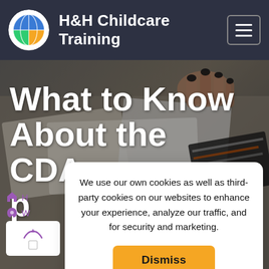H&H Childcare Training
[Figure (screenshot): Hero background photo showing hands turning pages of a book/magazine on a desk, with dark overlay]
What to Know About the CDA - p...
We use our own cookies as well as third-party cookies on our websites to enhance your experience, analyze our traffic, and for security and marketing.
Dismiss